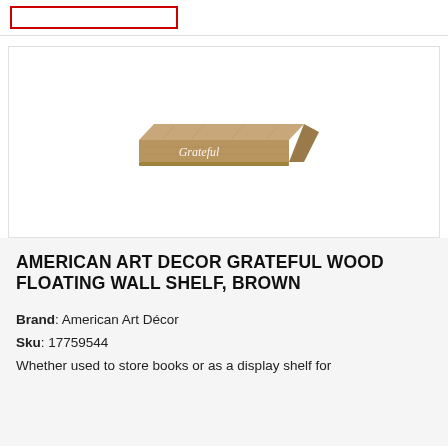[Figure (photo): Red outlined rectangle/search bar at top of page]
[Figure (photo): Product photo of a rectangular wooden floating wall shelf with 'Grateful' written in white script on the front face, brown wood grain texture]
AMERICAN ART DECOR GRATEFUL WOOD FLOATING WALL SHELF, BROWN
Brand: American Art Décor
Sku: 17759544
Whether used to store books or as a display shelf for